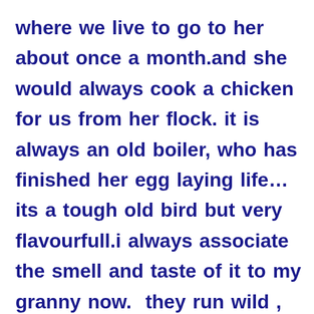where we live to go to her about once a month.and she would always cook a chicken for us from her flock. it is always an old boiler, who has finished her egg laying life… its a tough old bird but very flavourfull.i always associate the smell and taste of it to my granny now.  they run wild , scratching the ground, and freely wander about the place feeding